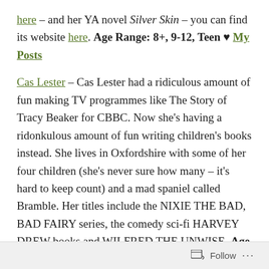here – and her YA novel Silver Skin – you can find its website here. Age Range: 8+, 9-12, Teen ♥ My Posts
Cas Lester – Cas Lester had a ridiculous amount of fun making TV programmes like The Story of Tracy Beaker for CBBC. Now she's having a ridonkulous amount of fun writing children's books instead. She lives in Oxfordshire with some of her four children (she's never sure how many – it's hard to keep count) and a mad spaniel called Bramble. Her titles include the NIXIE THE BAD, BAD FAIRY series, the comedy sci-fi HARVEY DREW books and WILFRED THE UNWISE. Age Range: 8+, 9-12 ♥ My Posts
Lindsay Littleson – Lindsay's a writer and teacher